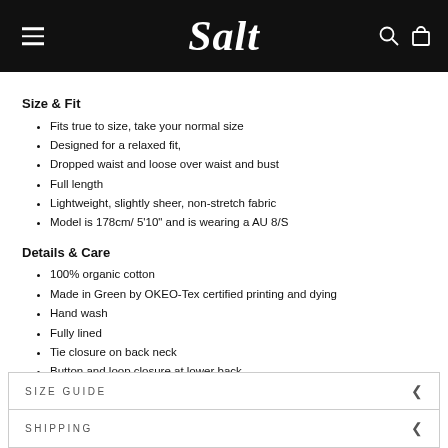Salt
Size & Fit
Fits true to size, take your normal size
Designed for a relaxed fit,
Dropped waist and loose over waist and bust
Full length
Lightweight, slightly sheer, non-stretch fabric
Model is 178cm/ 5'10" and is wearing a AU 8/S
Details & Care
100% organic cotton
Made in Green by OKEO-Tex certified printing and dying
Hand wash
Fully lined
Tie closure on back neck
Button and loop closure at lower back
SIZE GUIDE
SHIPPING